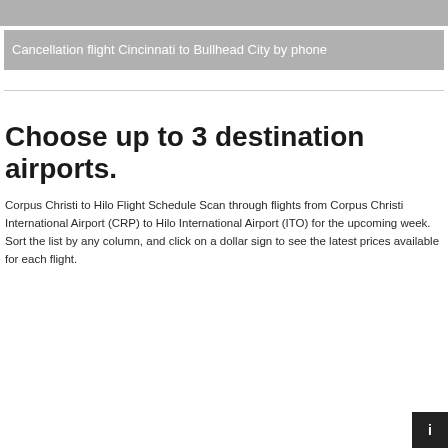Cancellation flight Cincinnati to Bullhead City by phone
Choose up to 3 destination airports.
Corpus Christi to Hilo Flight Schedule Scan through flights from Corpus Christi International Airport (CRP) to Hilo International Airport (ITO) for the upcoming week. Sort the list by any column, and click on a dollar sign to see the latest prices available for each flight.